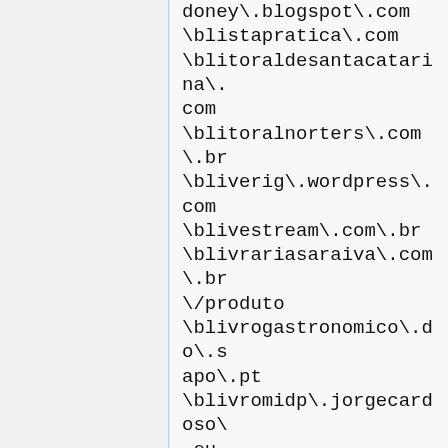doney\.blogspot\.com
\blistapratica\.com
\blitoraldesantacatarina\.com
\blitoralnorters\.com\.br
\bliverig\.wordpress\.com
\blivestream\.com\.br
\blivrariasaraiva\.com\.br\/produto
\blivrogastronomico\.do\.sapo\.pt
\blivromidp\.jorgecardoso\.eu
\blixaoblog\.blogspot\.com
\blogobr\.wordpress\.com
\blojaconrad\.com\.br\/produto\.asp
\blojasdobairro\.com
\blondon-underground\.blogspot\.com
\blosmandalas\.blogspot\.com
\blrg\.ufsc\.br\/\~westphal
\blucenaseguros\.com\.br